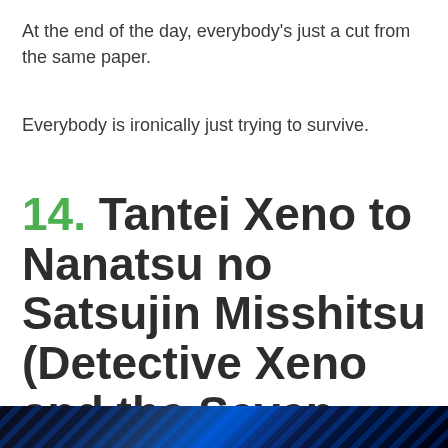At the end of the day, everybody's just a cut from the same paper.
Everybody is ironically just trying to survive.
14. Tantei Xeno to Nanatsu no Satsujin Misshitu (Detective Xeno and the Seven Locked Murder Rooms)
[Figure (photo): Bottom strip showing dark blue and black abstract diagonal streaks, likely a partial view of a manga or anime cover image.]